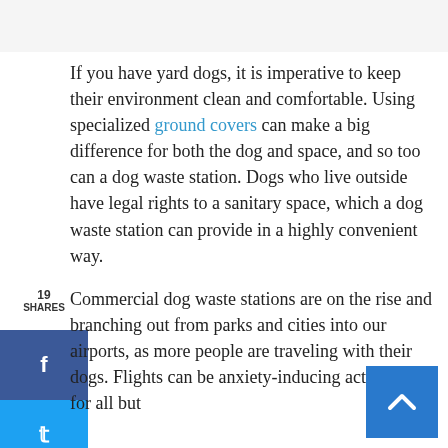If you have yard dogs, it is imperative to keep their environment clean and comfortable. Using specialized ground covers can make a big difference for both the dog and space, and so too can a dog waste station. Dogs who live outside have legal rights to a sanitary space, which a dog waste station can provide in a highly convenient way.
Commercial dog waste stations are on the rise and branching out from parks and cities into our airports, as more people are traveling with their dogs. Flights can be anxiety-inducing activities for all but